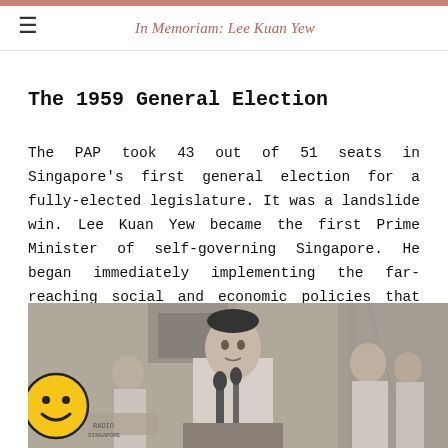In Memoriam: Lee Kuan Yew
The 1959 General Election
The PAP took 43 out of 51 seats in Singapore's first general election for a fully-elected legislature. It was a landslide win. Lee Kuan Yew became the first Prime Minister of self-governing Singapore. He began immediately implementing the far-reaching social and economic policies that transformed the island over the next few decades.
[Figure (photo): Black and white photograph of Lee Kuan Yew speaking at a podium with microphones, other figures visible in the background.]